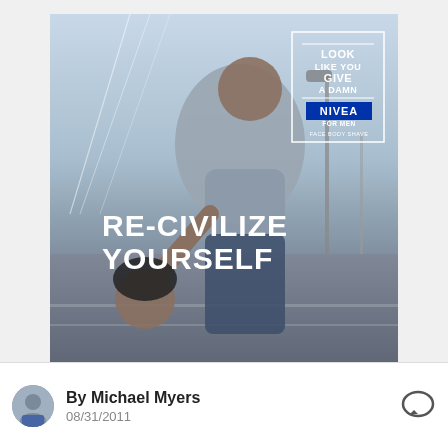[Figure (photo): Nivea for Men advertisement showing a well-dressed man in a grey sweater holding a severed-looking head (his own unkempt former self) with text 'RE-CIVILIZE YOURSELF' overlaid. Top right corner contains a bordered box reading 'LOOK LIKE YOU GIVE A DAMN' with the NIVEA FOR MEN FACE BODY SHAVE logo.]
By Michael Myers
08/31/2011